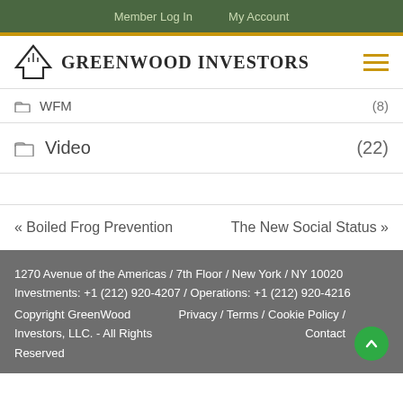Member Log In   My Account
[Figure (logo): GreenWood Investors logo with tree icon and hamburger menu]
WFM (8)
Video (22)
« Boiled Frog Prevention   The New Social Status »
1270 Avenue of the Americas / 7th Floor / New York / NY 10020
Investments: +1 (212) 920-4207 / Operations: +1 (212) 920-4216
Copyright GreenWood Investors, LLC. - All Rights Reserved
Privacy / Terms / Cookie Policy / Contact